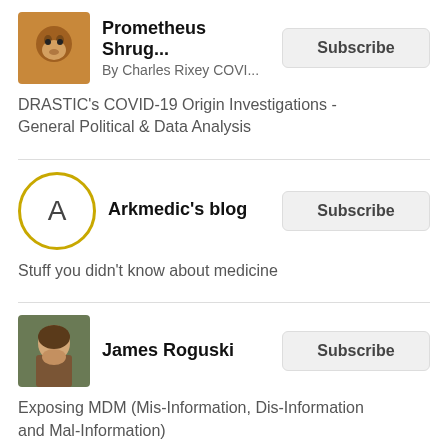[Figure (other): Prometheus Shrug blog avatar image - squirrel/animal photo]
Prometheus Shrug...
By Charles Rixey COVI...
Subscribe
DRASTIC's COVID-19 Origin Investigations - General Political & Data Analysis
[Figure (other): Arkmedic's blog avatar - circle with letter A, gold border]
Arkmedic's blog
Subscribe
Stuff you didn't know about medicine
[Figure (photo): James Roguski profile photo - man's face]
James Roguski
Subscribe
Exposing MDM (Mis-Information, Dis-Information and Mal-Information)